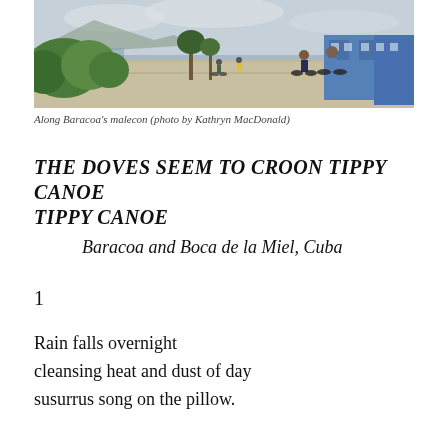[Figure (photo): Street-level photo along Baracoa's malecon (seaside promenade). People cycling on a wide sidewalk with trees and shrubs on the left, a blue building visible on the right, mountains and water in the background under a cloudy sky.]
Along Baracoa's malecon (photo by Kathryn MacDonald)
THE DOVES SEEM TO CROON TIPPY CANOE TIPPY CANOE
Baracoa and Boca de la Miel, Cuba
1
Rain falls overnight
cleansing heat and dust of day
susurrus song on the pillow.